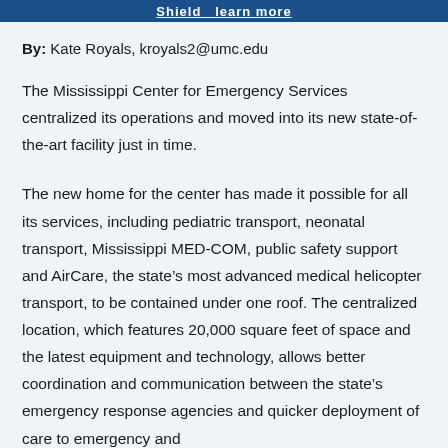Shield  learn more
By: Kate Royals, kroyals2@umc.edu
The Mississippi Center for Emergency Services centralized its operations and moved into its new state-of-the-art facility just in time.
The new home for the center has made it possible for all its services, including pediatric transport, neonatal transport, Mississippi MED-COM, public safety support and AirCare, the state's most advanced medical helicopter transport, to be contained under one roof. The centralized location, which features 20,000 square feet of space and the latest equipment and technology, allows better coordination and communication between the state's emergency response agencies and quicker deployment of care to emergency and